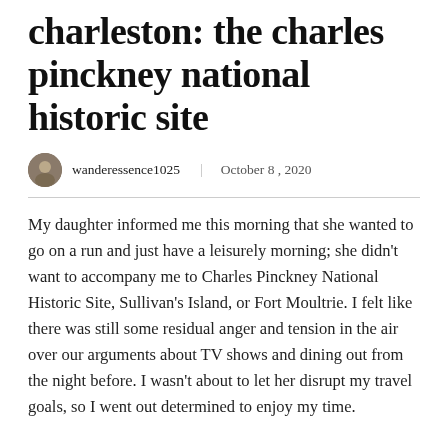charleston: the charles pinckney national historic site
wanderessence1025   October 8 , 2020
My daughter informed me this morning that she wanted to go on a run and just have a leisurely morning; she didn't want to accompany me to Charles Pinckney National Historic Site, Sullivan's Island, or Fort Moultrie.  I felt like there was still some residual anger and tension in the air over our arguments about TV shows and dining out from the night before.  I wasn't about to let her disrupt my travel goals, so I went out determined to enjoy my time.